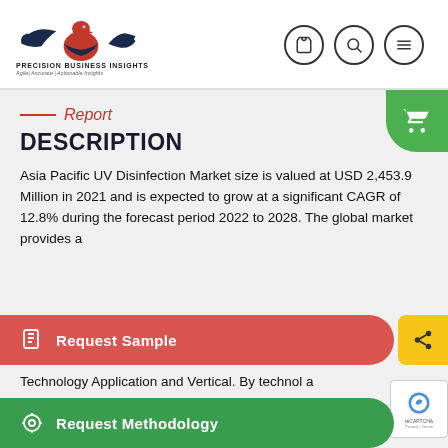[Figure (logo): Precision Business Insights eagle logo with handshake, red and dark blue colors]
Report
DESCRIPTION
Asia Pacific UV Disinfection Market size is valued at USD 2,453.9 Million in 2021 and is expected to grow at a significant CAGR of 12.8% during the forecast period 2022 to 2028. The global market provides a
Technology Application and Vertical. By technol a
Research TOC Production and Disinfection. Th